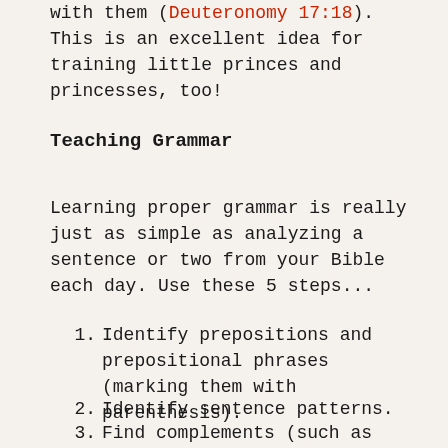copy Scripture and keep his copy with them (Deuteronomy 17:18). This is an excellent idea for training little princes and princesses, too!
Teaching Grammar
Learning proper grammar is really just as simple as analyzing a sentence or two from your Bible each day. Use these 5 steps...
1. Identify prepositions and prepositional phrases (marking them with parenthesis).
2. Identify sentence patterns.
3. Find complements (such as adjectives and adverbs).
4. Find subordinate clauses and identify